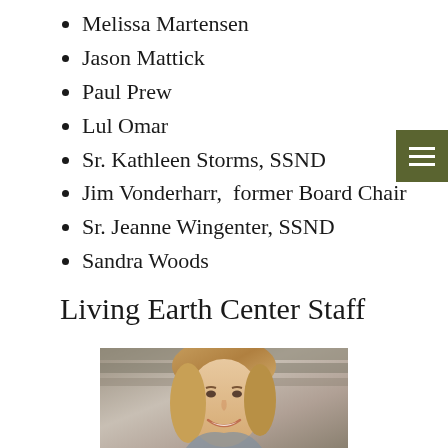Melissa Martensen
Jason Mattick
Paul Prew
Lul Omar
Sr. Kathleen Storms, SSND
Jim Vonderharr,  former Board Chair
Sr. Jeanne Wingenter, SSND
Sandra Woods
Living Earth Center Staff
[Figure (photo): Portrait photo of a smiling woman with blonde hair, blurred background of shelves or books]